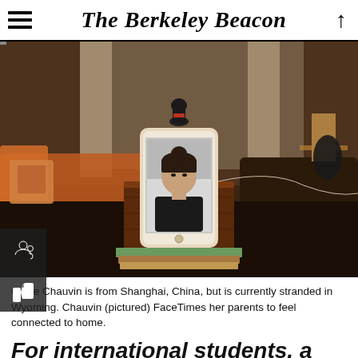The Berkeley Beacon
[Figure (photo): A smartphone propped on a wooden box and books on a dark table, displaying a video call with a young woman. A small figurine sits on top of the phone. A blurred living room with orange furniture is visible in the background.]
Chloe Chauvin is from Shanghai, China, but is currently stranded in Wyoming. Chauvin (pictured) FaceTimes her parents to feel connected to home.
For international students, a silent